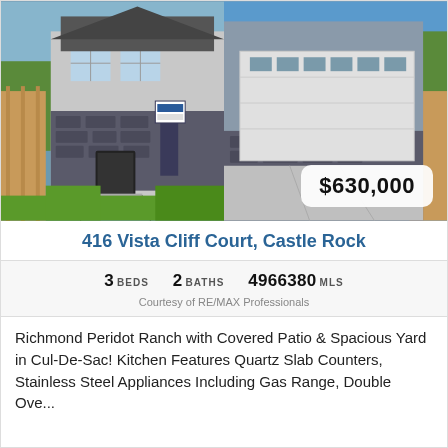[Figure (photo): Front exterior of a two-story house with stone facade, attached two-car garage, driveway, green lawn, and a for-sale sign. Two photos side by side showing front entry and garage views.]
416 Vista Cliff Court, Castle Rock
3 BEDS   2 BATHS   4966380 MLS
Courtesy of RE/MAX Professionals
Richmond Peridot Ranch with Covered Patio & Spacious Yard in Cul-De-Sac! Kitchen Features Quartz Slab Counters, Stainless Steel Appliances Including Gas Range, Double Ove...